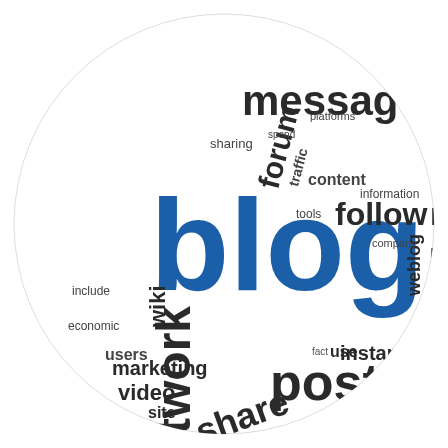[Figure (infographic): Word cloud in a circular shape featuring social media and blogging related terms. The largest word is 'blog' in dark blue, followed by 'like', 'network', 'message', 'post', 'social', 'follow', 'media', 'share', 'rank', 'forum', 'wiki', 'web', 'user', 'video', 'marketing', 'instant', 'internet', 'networking', 'seo', 'services', 'site', 'use', 'traffic', 'content', 'information', 'customers', 'pages', 'wall', 'link', 'weblog', 'online', 'interaction', 'relationships', 'reach', 'allow', 'based', 'phones', 'campaign', 'website', 'traditional', 'firms', 'effective', 'viewers', 'podcast', 'accessible', 'followers', 'sharing', 'tools', 'company', 'industrial', 'economic', 'include', 'users', 'create', 'process', 'constructions', 'platforms', 'spend', 'tally', 'citation']